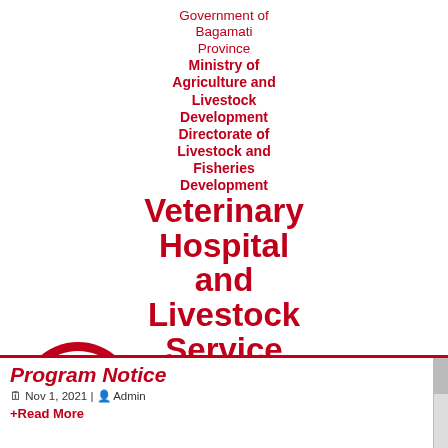[Figure (logo): Nepal government emblem (red border, blue mountain, green wreath) on left side]
Government of Bagamati Province Ministry of Agriculture and Livestock Development Directorate of Livestock and Fisheries Development Veterinary Hospital and Livestock Service Expert Center Charikot, Dolakha
[Figure (illustration): Nepal flag (double-pennant, crimson red with white moon and star motifs, blue border) on right side]
Program Notice
Nov 1, 2021 | Admin
+Read More